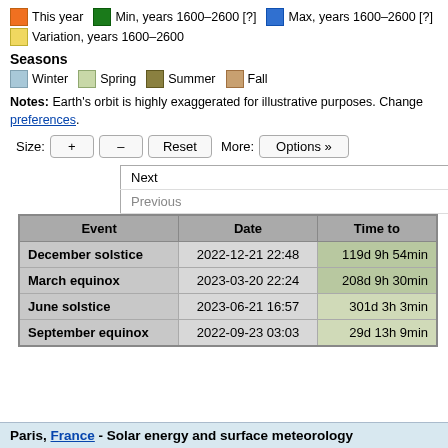This year | Min, years 1600–2600 [?] | Max, years 1600–2600 [?] | Variation, years 1600–2600
Seasons
Winter | Spring | Summer | Fall
Notes: Earth's orbit is highly exaggerated for illustrative purposes. Change preferences.
Size: + – Reset  More: Options »
| Event | Date | Time to |
| --- | --- | --- |
| December solstice | 2022-12-21 22:48 | 119d 9h 54min |
| March equinox | 2023-03-20 22:24 | 208d 9h 30min |
| June solstice | 2023-06-21 16:57 | 301d 3h 3min |
| September equinox | 2022-09-23 03:03 | 29d 13h 9min |
Paris, France - Solar energy and surface meteorology